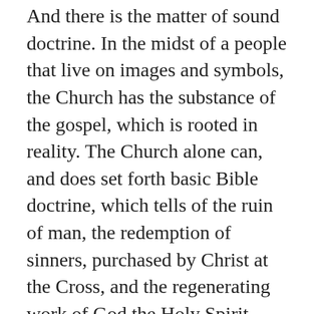And there is the matter of sound doctrine. In the midst of a people that live on images and symbols, the Church has the substance of the gospel, which is rooted in reality. The Church alone can, and does set forth basic Bible doctrine, which tells of the ruin of man, the redemption of sinners, purchased by Christ at the Cross, and the regenerating work of God the Holy Spirit. Those who are not interested in sound doctrine might find themselves wishing they had been interested.
Many years ago, in March of 1992, I spoke to a lady in Dallas, Texas. Her twenty-year-old daughter wanted to be baptized into the Mormon religion, and the mother was alarmed. Mom began to frantically search to